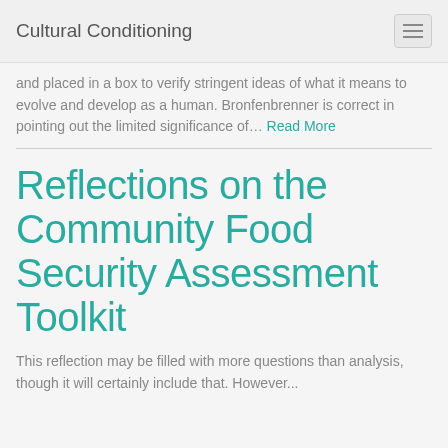Cultural Conditioning
and placed in a box to verify stringent ideas of what it means to evolve and develop as a human. Bronfenbrenner is correct in pointing out the limited significance of… Read More
Reflections on the Community Food Security Assessment Toolkit
This reflection may be filled with more questions than analysis, though it will certainly include that. However...